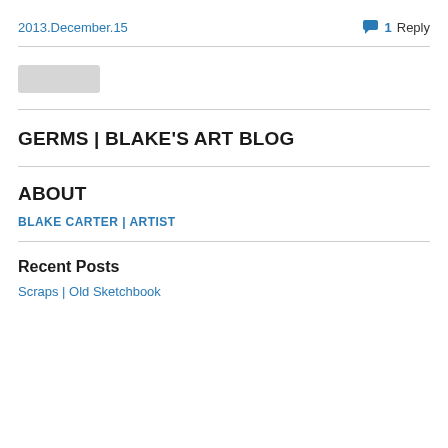2013.December.15
1 Reply
[Figure (other): Gray button placeholder]
GERMS | BLAKE'S ART BLOG
ABOUT
BLAKE CARTER | ARTIST
Recent Posts
Scraps | Old Sketchbook